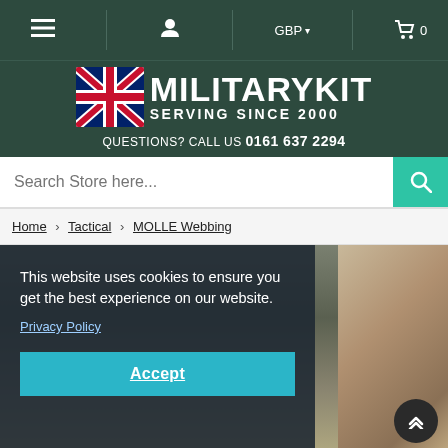≡  [user icon]  GBP▾  [cart] 0
[Figure (logo): MilitaryKit logo with Union Jack flag, text 'MILITARYKIT SERVING SINCE 2000', tagline 'QUESTIONS? CALL US 0161 637 2294']
QUESTIONS? CALL US 0161 637 2294
Search Store here...
Home › Tactical › MOLLE Webbing
[Figure (photo): Product photo of MOLLE webbing tactical gear, partially obscured by cookie consent overlay]
This website uses cookies to ensure you get the best experience on our website.
Privacy Policy
Accept